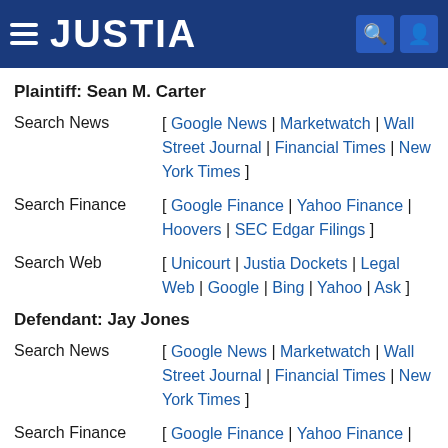JUSTIA
Plaintiff: Sean M. Carter
Search News [ Google News | Marketwatch | Wall Street Journal | Financial Times | New York Times ]
Search Finance [ Google Finance | Yahoo Finance | Hoovers | SEC Edgar Filings ]
Search Web [ Unicourt | Justia Dockets | Legal Web | Google | Bing | Yahoo | Ask ]
Defendant: Jay Jones
Search News [ Google News | Marketwatch | Wall Street Journal | Financial Times | New York Times ]
Search Finance [ Google Finance | Yahoo Finance | Hoovers | SEC Edgar Filings ]
Search Web [ Unicourt | Justia Dockets | Legal